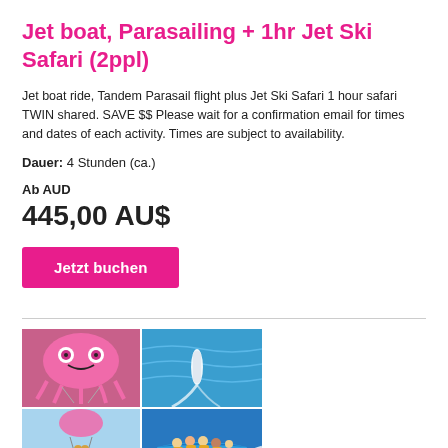Jet boat, Parasailing + 1hr Jet Ski Safari (2ppl)
Jet boat ride, Tandem Parasail flight plus Jet Ski Safari 1 hour safari TWIN shared. SAVE $$ Please wait for a confirmation email for times and dates of each activity. Times are subject to availability.
Dauer: 4 Stunden (ca.)
Ab AUD
445,00 AU$
Jetzt buchen
[Figure (photo): Four-panel photo grid showing: top-left: colorful parasail parachute (pink octopus design); top-right: jet ski aerial view on blue water; bottom-left: two people parasailing over water; bottom-right: group of people on blue jet boat]